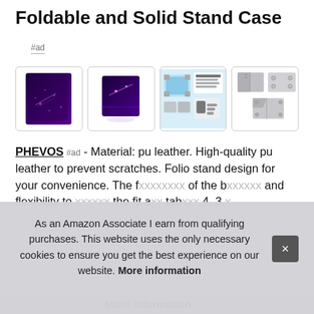Foldable and Solid Stand Case
#ad
[Figure (photo): Four product thumbnail images of a tablet case: 1) Purple galaxy-print tablet cover lying flat, 2) Purple cover propped up as a folio stand, 3) Assembly/instruction diagram on light blue background, 4) Gray tablet cover pieces laid flat]
PHEVOS #ad - Material: pu leather. High-quality pu leather to prevent scratches. Folio stand design for your convenience. The f… of the b… and flexibility to … the fit a… tab… 4, 3,…
As an Amazon Associate I earn from qualifying purchases. This website uses the only necessary cookies to ensure you get the best experience on our website. More information
More information